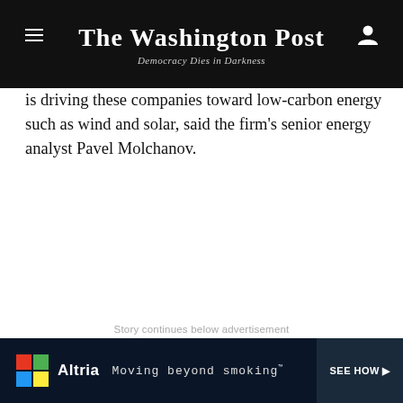The Washington Post
Democracy Dies in Darkness
is driving these companies toward low-carbon energy such as wind and solar, said the firm's senior energy analyst Pavel Molchanov.
Story continues below advertisement
[Figure (screenshot): Altria advertisement banner with colorful Windows-style logo, text 'Moving beyond smoking', and 'SEE HOW' call to action on dark blue background.]